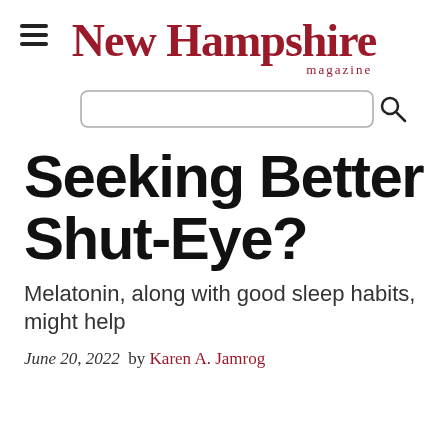New Hampshire magazine
Seeking Better Shut-Eye?
Melatonin, along with good sleep habits, might help
June 20, 2022  by  Karen A. Jamrog